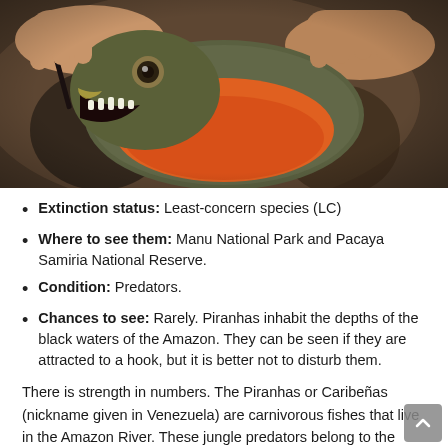[Figure (photo): Close-up photo of a piranha being held by human hands, showing its sharp teeth and bright orange/red belly, with a stick or hook near its open mouth.]
Extinction status: Least-concern species (LC)
Where to see them: Manu National Park and Pacaya Samiria National Reserve.
Condition: Predators.
Chances to see: Rarely. Piranhas inhabit the depths of the black waters of the Amazon. They can be seen if they are attracted to a hook, but it is better not to disturb them.
There is strength in numbers. The Piranhas or Caribeñas (nickname given in Venezuela) are carnivorous fishes that live in the Amazon River. These jungle predators belong to the broad Sawtooth